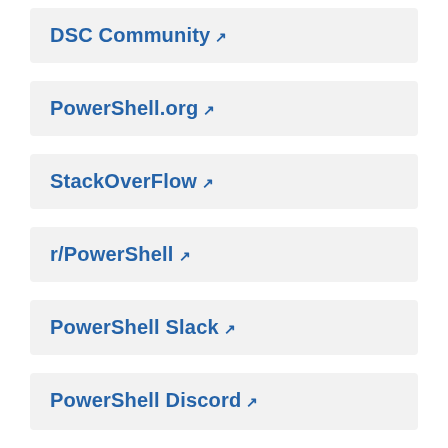DSC Community ↗
PowerShell.org ↗
StackOverFlow ↗
r/PowerShell ↗
PowerShell Slack ↗
PowerShell Discord ↗